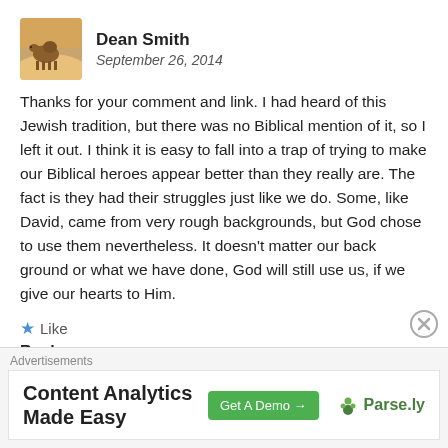[Figure (photo): Avatar photo of Dean Smith, showing a camel in a desert landscape]
Dean Smith
September 26, 2014
Thanks for your comment and link. I had heard of this Jewish tradition, but there was no Biblical mention of it, so I left it out. I think it is easy to fall into a trap of trying to make our Biblical heroes appear better than they really are. The fact is they had their struggles just like we do. Some, like David, came from very rough backgrounds, but God chose to use them nevertheless. It doesn't matter our back ground or what we have done, God will still use us, if we give our hearts to Him.
Like
Reply
[Figure (logo): Avatar for maria opondo, teal square with four dots]
maria opondo
May 9, 2016
Advertisements
[Figure (screenshot): Advertisement banner: Content Analytics Made Easy, Get A Demo button, Parse.ly logo]